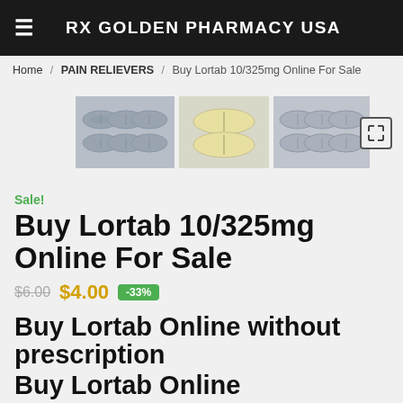RX GOLDEN PHARMACY USA
Home / PAIN RELIEVERS / Buy Lortab 10/325mg Online For Sale
[Figure (photo): Three product photos of Lortab 10/325mg pills: gray oval tablets arranged in rows, yellow oval tablets, and gray oval tablets from a different angle. An expand icon is shown at the right.]
Sale!
Buy Lortab 10/325mg Online For Sale
$6.00  $4.00  -33%
Buy Lortab Online without prescription
Buy Lortab Online